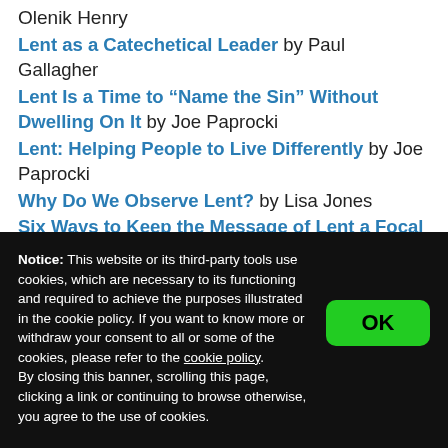Olenik Henry
Lent as a Catechetical Leader by Paul Gallagher
Lent Is a Time to “Name the Sin” Without Dwelling On It by Joe Paprocki
Lent: Helping People to Live Differently by Joe Paprocki
Why Do We Observe Lent? by Lisa Jones
Six Ways to Keep the Message of Lent a Focal Point
Notice: This website or its third-party tools use cookies, which are necessary to its functioning and required to achieve the purposes illustrated in the cookie policy. If you want to know more or withdraw your consent to all or some of the cookies, please refer to the cookie policy.
By closing this banner, scrolling this page, clicking a link or continuing to browse otherwise, you agree to the use of cookies.